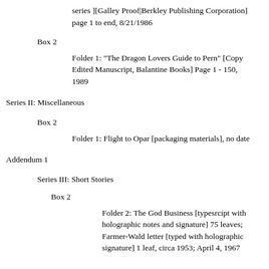series ][Galley Proof|Berkley Publishing Corporation] page 1 to end, 8/21/1986
Box 2
Folder 1: "The Dragon Lovers Guide to Pern" [Copy Edited Manuscript, Balantine Books] Page 1 - 150, 1989
Series II: Miscellaneous
Box 2
Folder 1: Flight to Opar [packaging materials], no date
Addendum 1
Series III: Short Stories
Box 2
Folder 2: The God Business [typesrcipt with holographic notes and signature] 75 leaves; Farmer-Wald letter [typed with holographic signature] 1 leaf, circa 1953; April 4, 1967